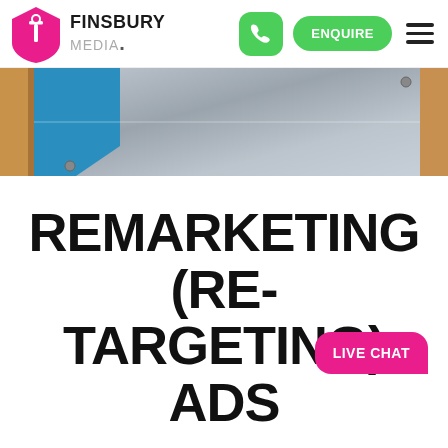FINSBURY MEDIA. | ENQUIRE
[Figure (photo): Close-up photo of a metallic surface with a blue geometric pentagon/arrow shape on the left and blurred wood visible on the right edge. Appears to be a sign or plaque.]
REMARKETING (RE-TARGETING) ADS
Increase Online Conversions with Retargeting
Let's say a client visits your website, and leaves. Mi...